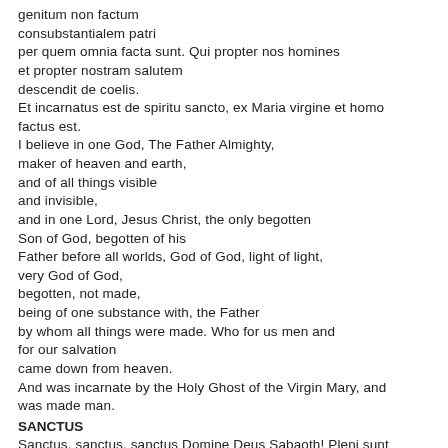genitum non factum
consubstantialem patri
per quem omnia facta sunt. Qui propter nos homines
et propter nostram salutem
descentit de coelis.
Et incarnatus est de spiritu sancto, ex Maria virgine et homo
factus est.
I believe in one God, The Father Almighty,
maker of heaven and earth,
and of all things visible
and invisible,
and in one Lord, Jesus Christ, the only begotten
Son of God, begotten of his
Father before all worlds, God of God, light of light,
very God of God,
begotten, not made,
being of one substance with, the Father
by whom all things were made. Who for us men and
for our salvation
came down from heaven.
And was incarnate by the Holy Ghost of the Virgin Mary, and
was made man.
SANCTUS
Sanctus, sanctus, sanctus Domine Deus Sabaoth! Pleni sunt